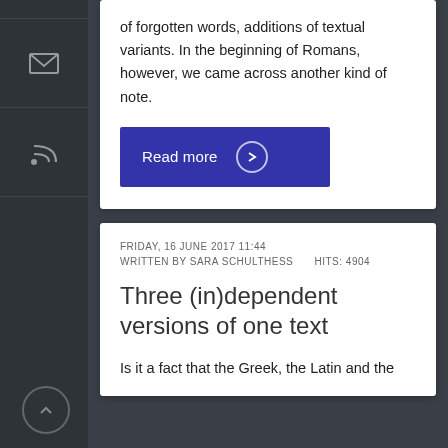of forgotten words, additions of textual variants. In the beginning of Romans, however, we came across another kind of note.
Read more
FRIDAY, 16 JUNE 2017 11:44
WRITTEN BY SARA SCHULTHESS    HITS: 4904
Three (in)dependent versions of one text
Is it a fact that the Greek, the Latin and the